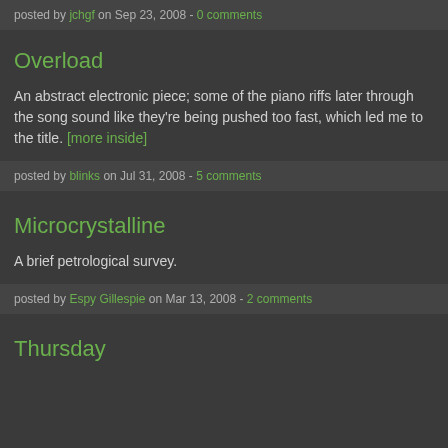posted by jchgf on Sep 23, 2008 - 0 comments
Overload
An abstract electronic piece; some of the piano riffs later through the song sound like they're being pushed too fast, which led me to the title. [more inside]
posted by blinks on Jul 31, 2008 - 5 comments
Microcrystalline
A brief petrological survey.
posted by Espy Gillespie on Mar 13, 2008 - 2 comments
Thursday